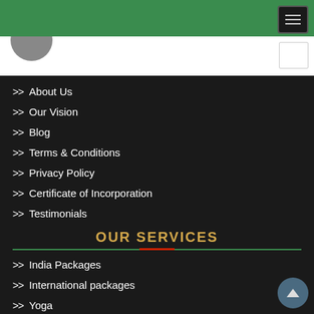Navigation header bar with menu button
>> About Us
>> Our Vision
>> Blog
>> Terms & Conditions
>> Privacy Policy
>> Certificate of Incorporation
>> Testimonials
OUR SERVICES
>> India Packages
>> International packages
>> Yoga
>> Hotels